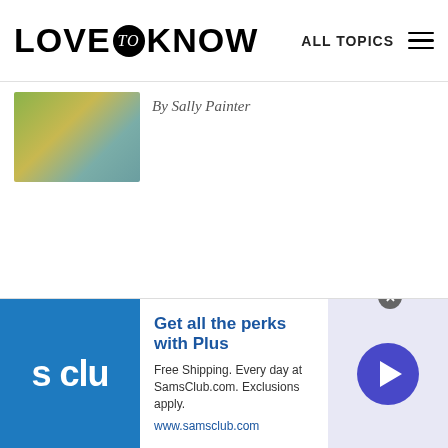LOVE to KNOW — ALL TOPICS
By Sally Painter
[Figure (photo): Thumbnail image with green and yellow tones, appears to be a nature or painting subject]
[Figure (infographic): Sam's Club advertisement banner: 'Get all the perks with Plus' - Free Shipping. Every day at SamsClub.com. Exclusions apply. www.samsclub.com]